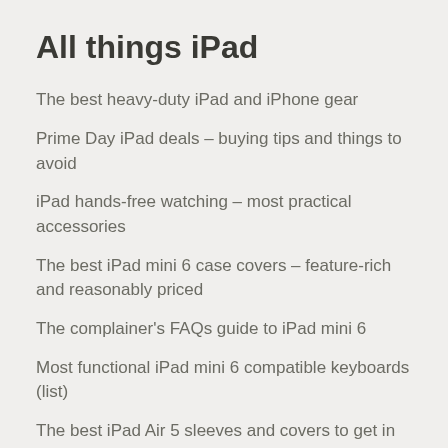All things iPad
The best heavy-duty iPad and iPhone gear
Prime Day iPad deals – buying tips and things to avoid
iPad hands-free watching – most practical accessories
The best iPad mini 6 case covers – feature-rich and reasonably priced
The complainer's FAQs guide to iPad mini 6
Most functional iPad mini 6 compatible keyboards (list)
The best iPad Air 5 sleeves and covers to get in 2022
Explore the best iPad Air 5 accessories you can get online